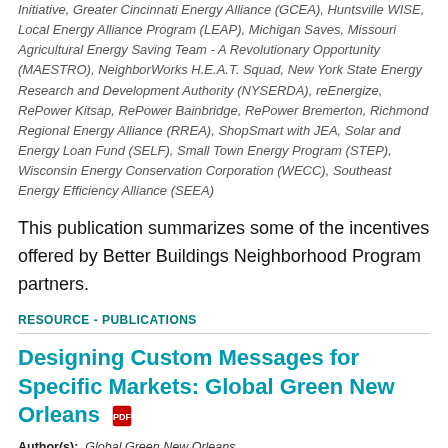Initiative, Greater Cincinnati Energy Alliance (GCEA), Huntsville WISE, Local Energy Alliance Program (LEAP), Michigan Saves, Missouri Agricultural Energy Saving Team - A Revolutionary Opportunity (MAESTRO), NeighborWorks H.E.A.T. Squad, New York State Energy Research and Development Authority (NYSERDA), reEnergize, RePower Kitsap, RePower Bainbridge, RePower Bremerton, Richmond Regional Energy Alliance (RREA), ShopSmart with JEA, Solar and Energy Loan Fund (SELF), Small Town Energy Program (STEP), Wisconsin Energy Conservation Corporation (WECC), Southeast Energy Efficiency Alliance (SEEA)
This publication summarizes some of the incentives offered by Better Buildings Neighborhood Program partners.
RESOURCE - PUBLICATIONS
Designing Custom Messages for Specific Markets: Global Green New Orleans
Author(s): Global Green New Orleans
Publication Date: 2012
Organizations or Programs: Global Green New Orleans, NOLA WISE
This presentation describes the Global Green New Orleans